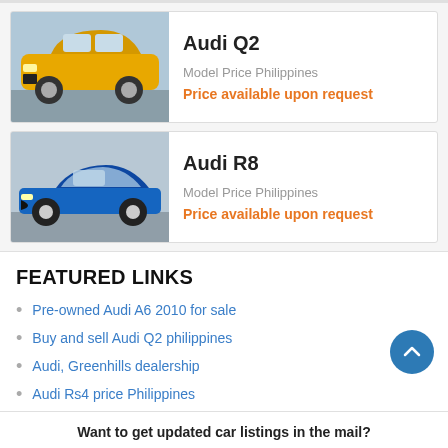[Figure (photo): Yellow Audi Q2 SUV on a road with grey sky background]
Audi Q2
Model Price Philippines
Price available upon request
[Figure (photo): Blue Audi R8 sports car on a road]
Audi R8
Model Price Philippines
Price available upon request
FEATURED LINKS
Pre-owned Audi A6 2010 for sale
Buy and sell Audi Q2 philippines
Audi, Greenhills dealership
Audi Rs4 price Philippines
Want to get updated car listings in the mail?